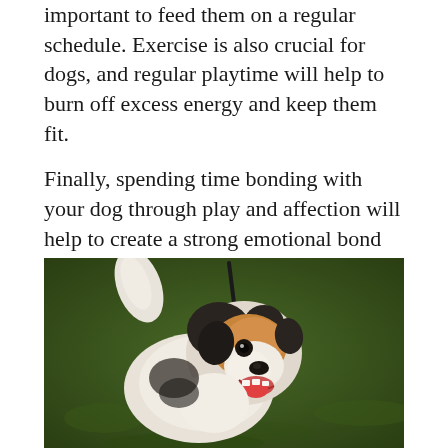important to feed them on a regular schedule. Exercise is also crucial for dogs, and regular playtime will help to burn off excess energy and keep them fit.
Finally, spending time bonding with your dog through play and affection will help to create a strong emotional bond between you and your pet. By establishing a routine for feeding, exercising, and playing with your dog, you can ensure that your pet stays healthy and happy for years to come.
[Figure (photo): A Jack Russell Terrier dog with black, white, and tan markings, mouth open, looking upward to the right. A black leash is visible. The dog is photographed against a blurred green grass background outdoors.]